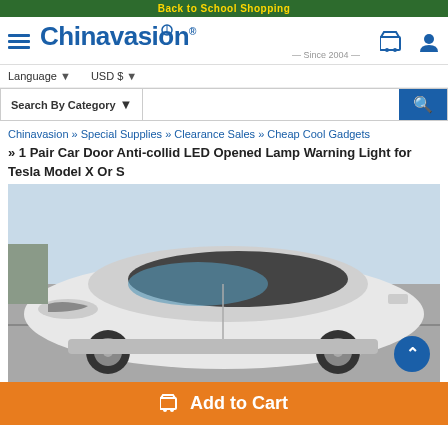Back to School Shopping
[Figure (logo): Chinavasion logo with hamburger menu, Since 2004 tagline, cart and user icons]
Language ▼   USD $ ▼
Search By Category ▼ [search bar]
Chinavasion » Special Supplies » Clearance Sales » Cheap Cool Gadgets » 1 Pair Car Door Anti-collid LED Opened Lamp Warning Light for Tesla Model X Or S
[Figure (photo): White Tesla Model X SUV photographed outdoors near waterfront, front-side view]
Add to Cart